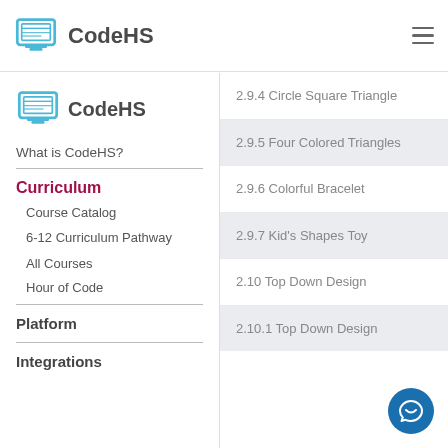CodeHS
[Figure (logo): CodeHS logo with computer monitor icon and CodeHS text in left sidebar]
What is CodeHS?
Curriculum
Course Catalog
6-12 Curriculum Pathway
All Courses
Hour of Code
Platform
Integrations
2.9.4 Circle Square Triangle
2.9.5 Four Colored Triangles
2.9.6 Colorful Bracelet
2.9.7 Kid's Shapes Toy
2.10 Top Down Design
2.10.1 Top Down Design